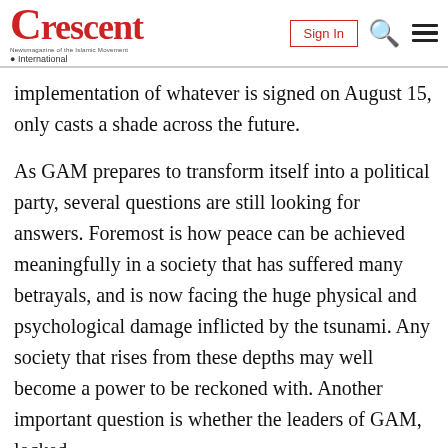Crescent International — Sign In
implementation of whatever is signed on August 15, only casts a shade across the future.
As GAM prepares to transform itself into a political party, several questions are still looking for answers. Foremost is how peace can be achieved meaningfully in a society that has suffered many betrayals, and is now facing the huge physical and psychological damage inflicted by the tsunami. Any society that rises from these depths may well become a power to be reckoned with. Another important question is whether the leaders of GAM, locked